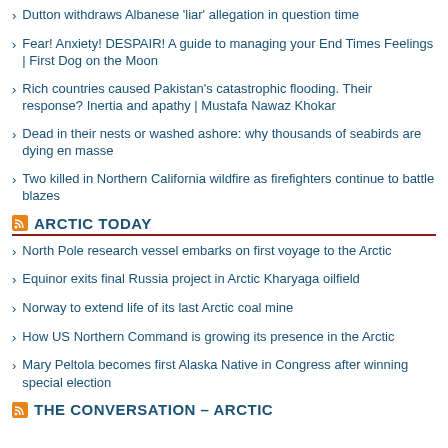Dutton withdraws Albanese 'liar' allegation in question time
Fear! Anxiety! DESPAIR! A guide to managing your End Times Feelings | First Dog on the Moon
Rich countries caused Pakistan's catastrophic flooding. Their response? Inertia and apathy | Mustafa Nawaz Khokar
Dead in their nests or washed ashore: why thousands of seabirds are dying en masse
Two killed in Northern California wildfire as firefighters continue to battle blazes
ARCTIC TODAY
North Pole research vessel embarks on first voyage to the Arctic
Equinor exits final Russia project in Arctic Kharyaga oilfield
Norway to extend life of its last Arctic coal mine
How US Northern Command is growing its presence in the Arctic
Mary Peltola becomes first Alaska Native in Congress after winning special election
THE CONVERSATION – ARCTIC